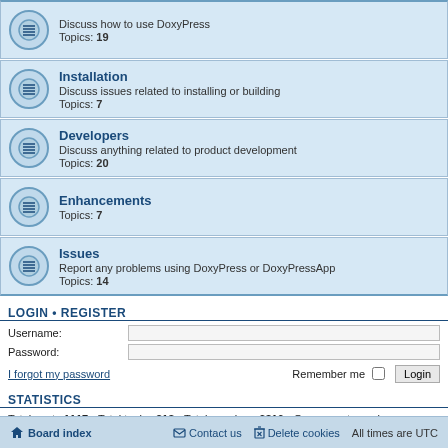Discuss how to use DoxyPress
Topics: 19
Installation
Discuss issues related to installing or building
Topics: 7
Developers
Discuss anything related to product development
Topics: 20
Enhancements
Topics: 7
Issues
Report any problems using DoxyPress or DoxyPressApp
Topics: 14
LOGIN • REGISTER
Username:
Password:
I forgot my password
Remember me
STATISTICS
Total posts 1117 • Total topics 318 • Total members 2810 • Our newest member QuaderiFuh
Board index   Contact us   Delete cookies   All times are UTC